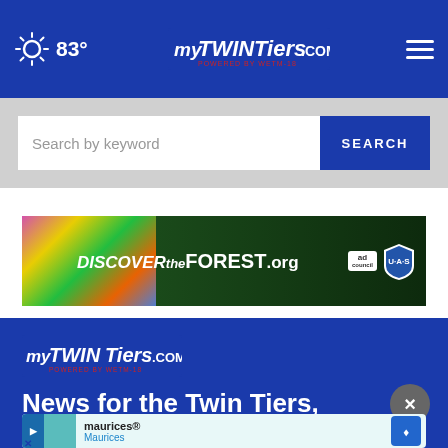83° — MyTwinTiers.com header navigation bar
[Figure (screenshot): Search bar area with 'Search by keyword' input and blue SEARCH button]
[Figure (other): DiscovertheForest.org advertisement banner with colorful flowers, forest background, Ad Council and USFS logos]
[Figure (logo): MyTwinTiers.com footer logo on blue background]
News for the Twin Tiers, inc... Ste...
[Figure (other): maurices® Maurices advertisement overlay at bottom of page]